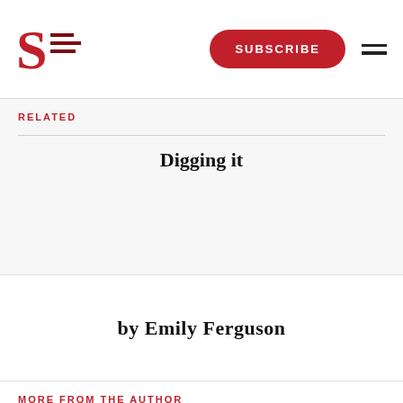S [logo] SUBSCRIBE [menu]
RELATED
Digging it
by Emily Ferguson
MORE FROM THE AUTHOR
Digging it
By Emily Ferguson